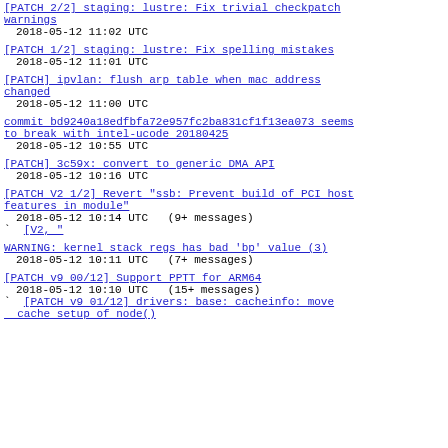[PATCH 2/2] staging: lustre: Fix trivial checkpatch warnings
2018-05-12 11:02 UTC
[PATCH 1/2] staging: lustre: Fix spelling mistakes
2018-05-12 11:01 UTC
[PATCH] ipvlan: flush arp table when mac address changed
2018-05-12 11:00 UTC
commit bd9240a18edfbfa72e957fc2ba831cf1f13ea073 seems to break with intel-ucode 20180425
2018-05-12 10:55 UTC
[PATCH] 3c59x: convert to generic DMA API
2018-05-12 10:16 UTC
[PATCH V2 1/2] Revert "ssb: Prevent build of PCI host features in module"
2018-05-12 10:14 UTC  (9+ messages)
` [V2, "
WARNING: kernel stack regs has bad 'bp' value (3)
2018-05-12 10:11 UTC  (7+ messages)
[PATCH v9 00/12] Support PPTT for ARM64
2018-05-12 10:10 UTC  (15+ messages)
` [PATCH v9 01/12] drivers: base: cacheinfo: move cache setup of node()